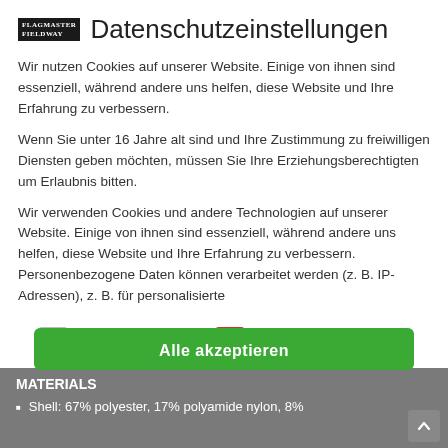Datenschutzeinstellungen
Wir nutzen Cookies auf unserer Website. Einige von ihnen sind essenziell, während andere uns helfen, diese Website und Ihre Erfahrung zu verbessern.
Wenn Sie unter 16 Jahre alt sind und Ihre Zustimmung zu freiwilligen Diensten geben möchten, müssen Sie Ihre Erziehungsberechtigten um Erlaubnis bitten.
Wir verwenden Cookies und andere Technologien auf unserer Website. Einige von ihnen sind essenziell, während andere uns helfen, diese Website und Ihre Erfahrung zu verbessern. Personenbezogene Daten können verarbeitet werden (z. B. IP-Adressen), z. B. für personalisierte
Essenziell
Externe Medien
Alle akzeptieren
MATERIALS
Shell: 67% polyester, 17% polyamide nylon, 8%